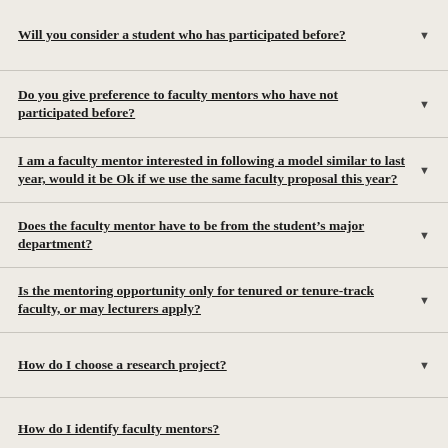Will you consider a student who has participated before?
Do you give preference to faculty mentors who have not participated before?
I am a faculty mentor interested in following a model similar to last year, would it be Ok if we use the same faculty proposal this year?
Does the faculty mentor have to be from the student’s major department?
Is the mentoring opportunity only for tenured or tenure-track faculty, or may lecturers apply?
How do I choose a research project?
How do I identify faculty mentors?